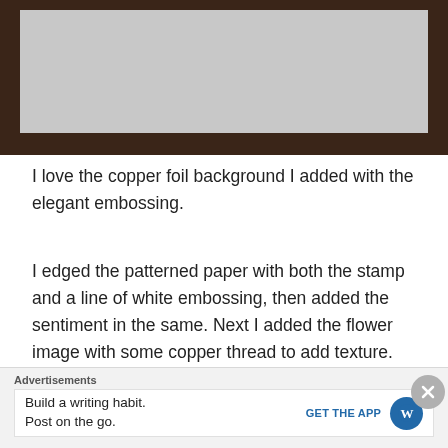[Figure (photo): Top portion of a craft card project showing a dark brown frame with a light grey/white matted interior, partially visible at top of page.]
I love the copper foil background I added with the elegant embossing.
I edged the patterned paper with both the stamp and a line of white embossing, then added the sentiment in the same. Next I added the flower image with some copper thread to add texture.
[Figure (photo): Bottom portion showing a craft card with dark brown outer frame, teal/green sparkly patterned paper layer, and a pink/beige inner card panel with stamped image.]
Advertisements
Build a writing habit. Post on the go.
GET THE APP